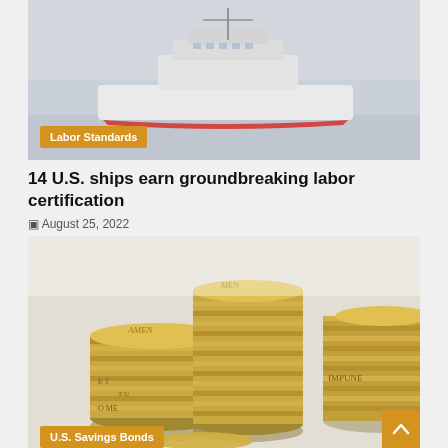[Figure (photo): A large ship or vessel photographed in foggy, snowy conditions against a grey-blue sky]
Labor Standards
14 U.S. ships earn groundbreaking labor certification
August 25, 2022
[Figure (photo): Stacks of gold British pound coins piled up, with text visible on the edges of the coins including 'IMPUNE']
U.S. Savings Bonds